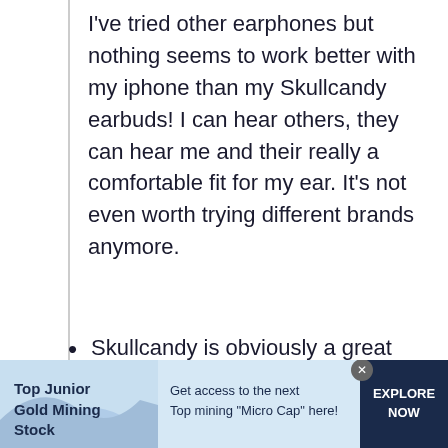I've tried other earphones but nothing seems to work better with my iphone than my Skullcandy earbuds! I can hear others, they can hear me and their really a comfortable fit for my ear. It's not even worth trying different brands anymore.
Skullcandy is obviously a great brand, but even their low-end products, such as the Ink'd
[Figure (other): Advertisement banner at the bottom. Left section: 'Top Junior Gold Mining Stock' in bold dark text on light blue background with wave graphic. Middle: 'Get access to the next Top mining "Micro Cap" here!' in dark text. Right: 'EXPLORE NOW' in white text on dark navy background. Close button (x) in top-right corner of ad.]